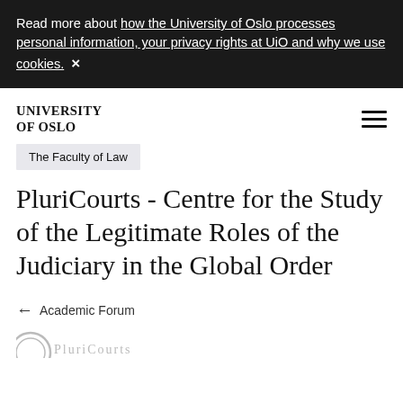Read more about how the University of Oslo processes personal information, your privacy rights at UiO and why we use cookies. ×
UNIVERSITY OF OSLO
The Faculty of Law
PluriCourts - Centre for the Study of the Legitimate Roles of the Judiciary in the Global Order
← Academic Forum